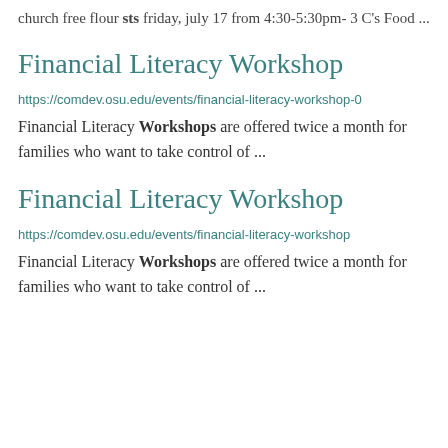church free flour sts friday, july 17 from 4:30-5:30pm- 3 C's Food ...
Financial Literacy Workshop
https://comdev.osu.edu/events/financial-literacy-workshop-0
Financial Literacy Workshops are offered twice a month for families who want to take control of ...
Financial Literacy Workshop
https://comdev.osu.edu/events/financial-literacy-workshop
Financial Literacy Workshops are offered twice a month for families who want to take control of ...